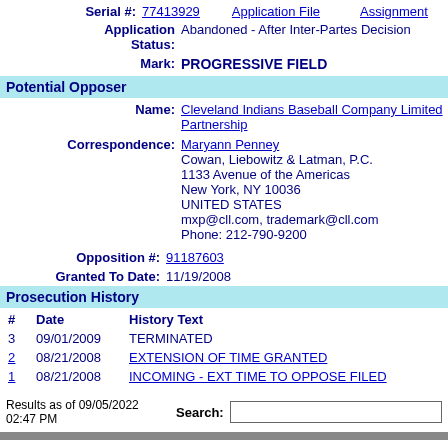Serial #: 77413929   Application File   Assignment
Application Status: Abandoned - After Inter-Partes Decision
Mark: PROGRESSIVE FIELD
Potential Opposer
Name: Cleveland Indians Baseball Company Limited Partnership
Correspondence: Maryann Penney
Cowan, Liebowitz & Latman, P.C.
1133 Avenue of the Americas
New York, NY 10036
UNITED STATES
mxp@cll.com, trademark@cll.com
Phone: 212-790-9200
Opposition #: 91187603
Granted To Date: 11/19/2008
Prosecution History
| # | Date | History Text |
| --- | --- | --- |
| 3 | 09/01/2009 | TERMINATED |
| 2 | 08/21/2008 | EXTENSION OF TIME GRANTED |
| 1 | 08/21/2008 | INCOMING - EXT TIME TO OPPOSE FILED |
Results as of 09/05/2022 02:47 PM
Search: